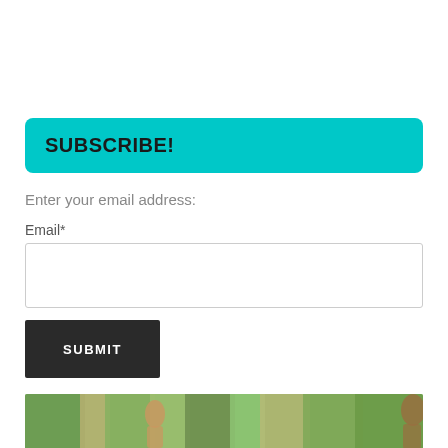SUBSCRIBE!
Enter your email address:
Email*
[Figure (other): Empty email text input field with border]
SUBMIT
[Figure (photo): Outdoor photo showing people and tropical greenery/palm trees]